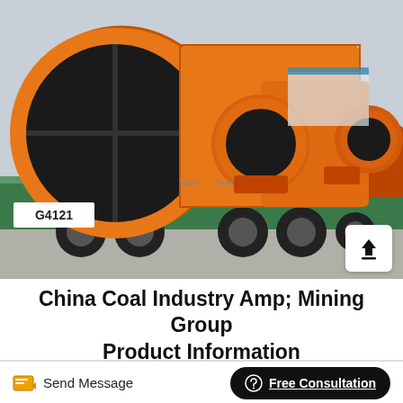[Figure (photo): Large orange industrial rotary drum machines (likely rotary dryers or kilns) loaded on a flatbed truck, photographed in an industrial yard. The equipment is bright orange with black circular openings. Text on truck reads G4121.]
China Coal Industry Amp; Mining Group Product Information
Send Message
Free Consultation